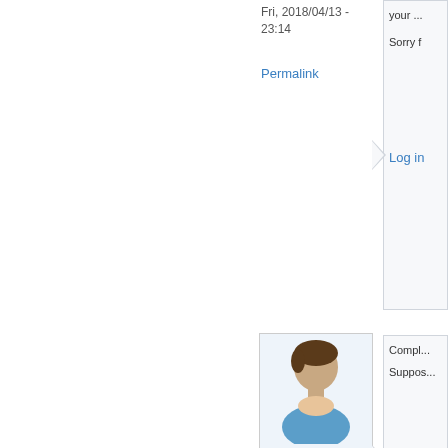Fri, 2018/04/13 - 23:14
Permalink
Sorry f...
Log in
[Figure (illustration): Generic user avatar icon - blue shirt person]
geher
Thu, 2018/04/12 - 12:56
Permalink
Compl... Suppos...
Log in
[Figure (illustration): Black and white vintage penny-farthing bicycle illustration]
Yo... to...
Lo...